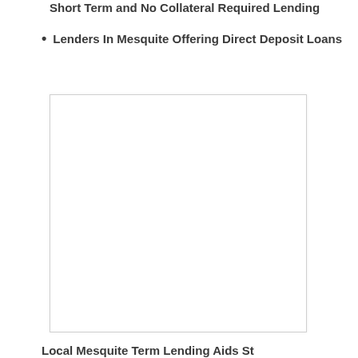Short Term and No Collateral Required Lending
Lenders In Mesquite Offering Direct Deposit Loans
[Figure (other): Blank white image placeholder box with light border]
Local Mesquite Term Lending Aids St...